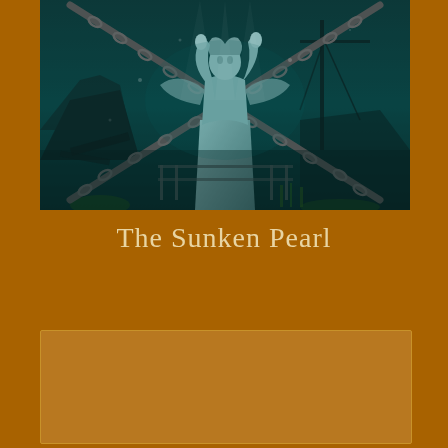[Figure (illustration): An underwater scene showing a large stone angel statue with outstretched arms, surrounded by heavy chains crossing in an X pattern, with sunken ship wreckage and debris visible in the dark teal-colored water around the statue.]
The Sunken Pearl
[Figure (other): A rectangular box with a slightly lighter amber/brown color, appearing to be a placeholder or content area below the title.]